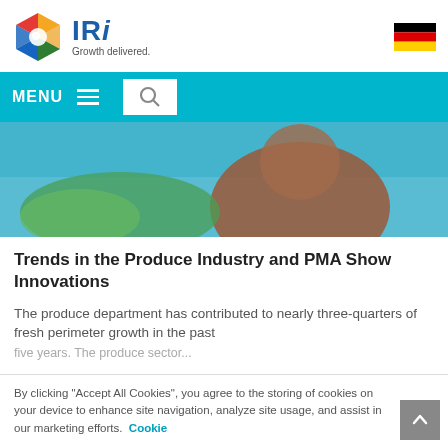[Figure (logo): IRI logo with hexagonal colorful icon and text 'IRi Growth delivered.']
[Figure (photo): Navigation bar with MENU label, hamburger icon, and search box on a cyan background, with a hero image of a woman in red dress near produce/vegetables]
Trends in the Produce Industry and PMA Show Innovations
The produce department has contributed to nearly three-quarters of fresh perimeter growth in the past five years. The produce sector...
By clicking "Accept All Cookies", you agree to the storing of cookies on your device to enhance site navigation, analyze site usage, and assist in our marketing efforts. Cookie